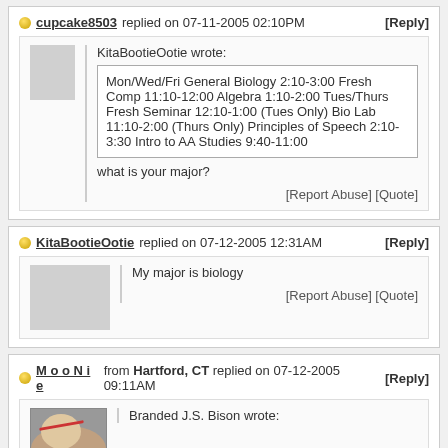cupcake8503 replied on 07-11-2005 02:10PM [Reply]
KitaBootieOotie wrote:
Mon/Wed/Fri General Biology 2:10-3:00 Fresh Comp 11:10-12:00 Algebra 1:10-2:00 Tues/Thurs Fresh Seminar 12:10-1:00 (Tues Only) Bio Lab 11:10-2:00 (Thurs Only) Principles of Speech 2:10-3:30 Intro to AA Studies 9:40-11:00
what is your major?
[Report Abuse] [Quote]
KitaBootieOotie replied on 07-12-2005 12:31AM [Reply]
My major is biology
[Report Abuse] [Quote]
M o o N i e from Hartford, CT replied on 07-12-2005 09:11AM [Reply]
Branded J.S. Bison wrote: